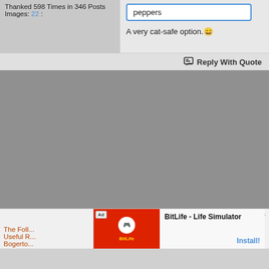Thanked 598 Times in 346 Posts
Images: 22 :
peppers
A very cat-safe option. 😁
Reply With Quote
[Figure (other): Large gray empty area of forum page]
The Foll... Useful R...
This
Bogerto...
[Figure (screenshot): Ad for BitLife - Life Simulator app with red background image and install button]